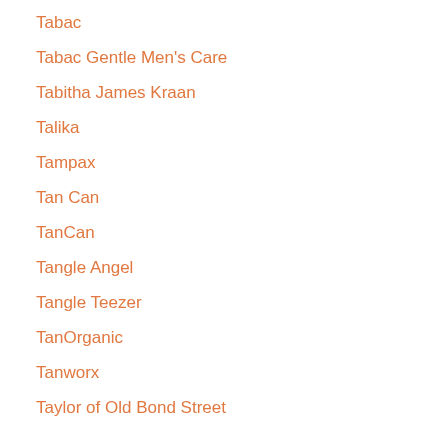Tabac
Tabac Gentle Men's Care
Tabitha James Kraan
Talika
Tampax
Tan Can
TanCan
Tangle Angel
Tangle Teezer
TanOrganic
Tanworx
Taylor of Old Bond Street